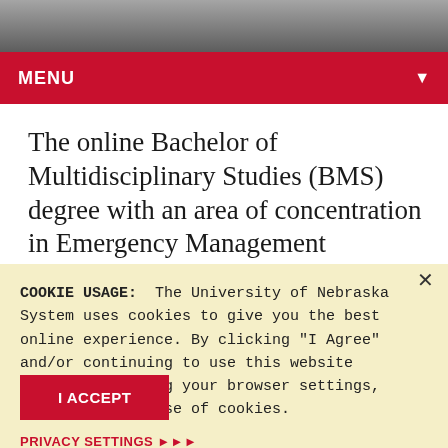[Figure (photo): A cropped photo strip at the top of the page showing people walking outdoors, grayscale/muted tones.]
MENU
The online Bachelor of Multidisciplinary Studies (BMS) degree with an area of concentration in Emergency Management
COOKIE USAGE:  The University of Nebraska System uses cookies to give you the best online experience. By clicking "I Agree" and/or continuing to use this website without adjusting your browser settings, you accept the use of cookies.
PRIVACY SETTINGS ▶▶▶
I ACCEPT